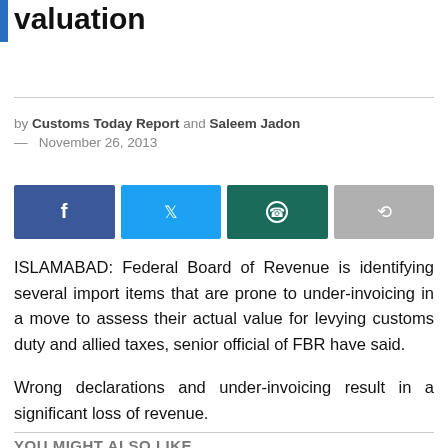FBR identifying items prone to under-invoicing for valuation
by Customs Today Report and Saleem Jadon — November 26, 2013
[Figure (other): Social sharing buttons: Facebook, Twitter, WhatsApp, Share]
ISLAMABAD: Federal Board of Revenue is identifying several import items that are prone to under-invoicing in a move to assess their actual value for levying customs duty and allied taxes, senior official of FBR have said.
Wrong declarations and under-invoicing result in a significant loss of revenue.
YOU MIGHT ALSO LIKE